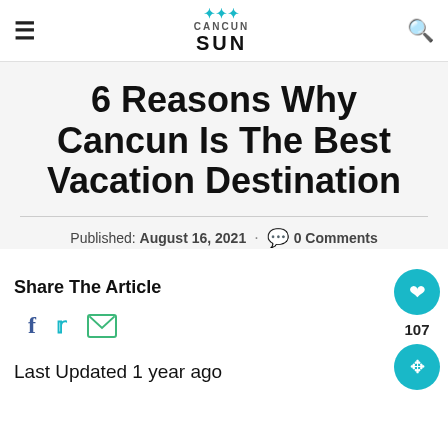CANCUN SUN
6 Reasons Why Cancun Is The Best Vacation Destination
Published: August 16, 2021 · 0 Comments
Share The Article
Last Updated 1 year ago